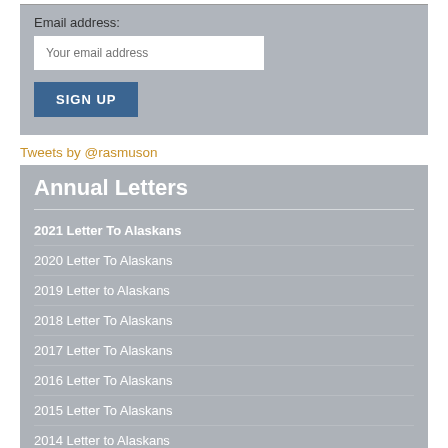Email address:
Your email address
SIGN UP
Tweets by @rasmuson
Annual Letters
2021 Letter To Alaskans
2020 Letter To Alaskans
2019 Letter to Alaskans
2018 Letter To Alaskans
2017 Letter To Alaskans
2016 Letter To Alaskans
2015 Letter To Alaskans
2014 Letter to Alaskans
2013 Letter to Alaskans